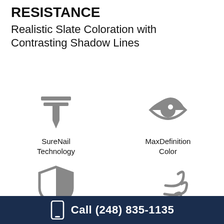RESISTANCE
Realistic Slate Coloration with Contrasting Shadow Lines
[Figure (infographic): Four icons in a 2x2 grid: nail/SureNail Technology icon, eye/MaxDefinition Color icon, shield/StreakFighter 15 Year icon, wind/130 MPH | 256 KMH Wind Resistance icon]
Call (248) 835-1135